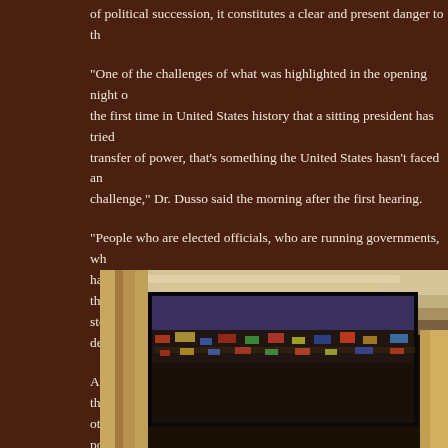of political succession, it constitutes a clear and present danger to th
“One of the challenges of what was highlighted in the opening night of the first time in United States history that a sitting president has tried transfer of power, that’s something the United States hasn’t faced an challenge,” Dr. Dusso said the morning after the first hearing.
“People who are elected officials, who are running governments, who have to be willing to relinquish power when elections don’t go their w stop elections from happening, that’s when the end of your democra
Agreeing that an erosion of the U.S. Constitution is detrimental to th other scholars suggest that the adversarial nature of American politic expense of Black, Brown, and poor people, can no longer counteran demographic changes, projected by the U.S. Census, making Whites the late 2060s.
[Figure (photo): A photograph showing a large projection screen in an ornate hall with classical architecture. The screen displays a crowd scene. Decorative pillars and ceiling molding are visible in the background.]